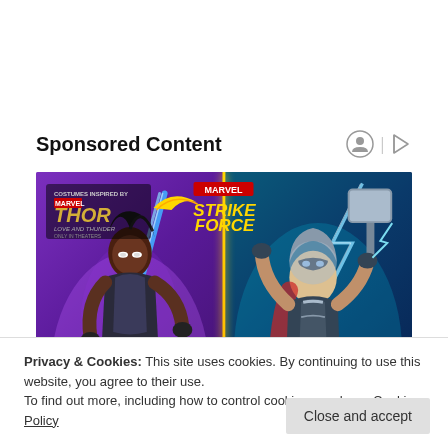Sponsored Content
[Figure (illustration): Marvel Strike Force advertisement featuring Valkyrie on the left holding a blue sword and Mighty Thor on the right holding a hammer with lightning. Thor: Love and Thunder movie logo in top left, Marvel Strike Force logo in top center. Character names 'VALKYRIE' and 'MIGHTY THOR' displayed at the bottom.]
Privacy & Cookies: This site uses cookies. By continuing to use this website, you agree to their use.
To find out more, including how to control cookies, see here: Cookie Policy
Close and accept